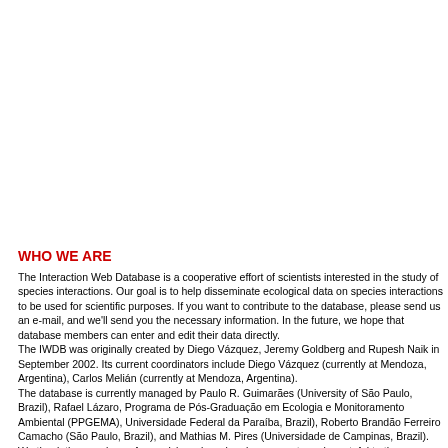WHO WE ARE
The Interaction Web Database is a cooperative effort of scientists interested in the study of species interactions. Our goal is to help disseminate ecological data on species interactions to be used for scientific purposes. If you want to contribute to the database, please send us an e-mail, and we'll send you the necessary information. In the future, we hope that database members can enter and edit their data directly.
The IWDB was originally created by Diego Vázquez, Jeremy Goldberg and Rupesh Naik in September 2002. Its current coordinators include Diego Vázquez (currently at Mendoza, Argentina), Carlos Melián (currently at Mendoza, Argentina).
The database is currently managed by Paulo R. Guimarães (University of São Paulo, Brazil), Rafael Lázaro, Programa de Pós-Graduação em Ecologia e Monitoramento Ambiental (PPGEMA), Universidade Federal da Paraíba, Brazil), Roberto Brandão Ferreiro Camacho (São Paulo, Brazil), and Mathias M. Pires (Universidade de Campinas, Brazil). We thank the members of our advisory board and we are extremely grateful to the researchers that through intense fieldwork have
CONTACT US
The best way to get in touch with us is to send us an e-mail (iwdb@ib.usp.br).
If e-mail doesn't work for you, please e-mail to iwdb@ib.usp.br